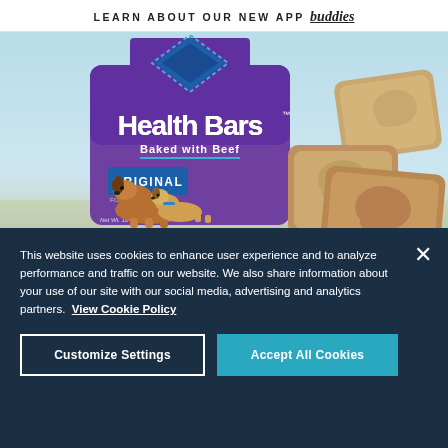LEARN ABOUT OUR NEW APP buddies
[Figure (photo): Blue Buffalo Health Bars dog treats bag (purple, Baked with Beef, Original flavor) with three bone-shaped biscuits visible to the right, two cartoon dogs on the bag, light blue background]
This website uses cookies to enhance user experience and to analyze performance and traffic on our website. We also share information about your use of our site with our social media, advertising and analytics partners.  View Cookie Policy
Customize Settings
Accept All Cookies